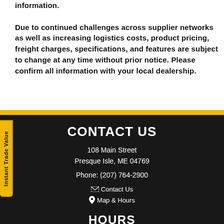information. Due to continued challenges across supplier networks as well as increasing logistics costs, product pricing, freight charges, specifications, and features are subject to change at any time without prior notice. Please confirm all information with your local dealership.
CONTACT US
108 Main Street
Preesque Isle, ME 04769

Phone: (207) 764-2900

✉ Contact Us
📍 Map & Hours
HOURS